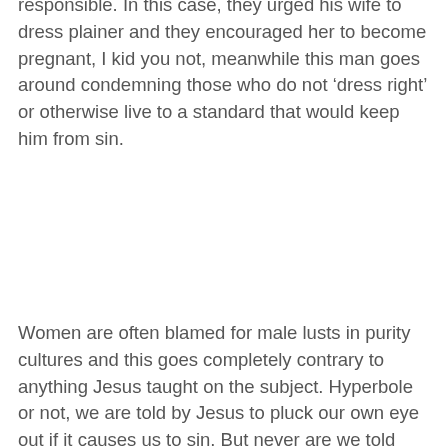responsible. In this case, they urged his wife to dress plainer and they encouraged her to become pregnant, I kid you not, meanwhile this man goes around condemning those who do not ‘dress right’ or otherwise live to a standard that would keep him from sin.
Women are often blamed for male lusts in purity cultures and this goes completely contrary to anything Jesus taught on the subject. Hyperbole or not, we are told by Jesus to pluck our own eye out if it causes us to sin. But never are we told that it is a woman’s responsibility to keep a man’s thoughts pure. Men who shift blame for their own sinful thoughts and actions have no business calling themselves Christian leaders. A real Christian leader takes full responsibility for their own sin, falls on their knees and